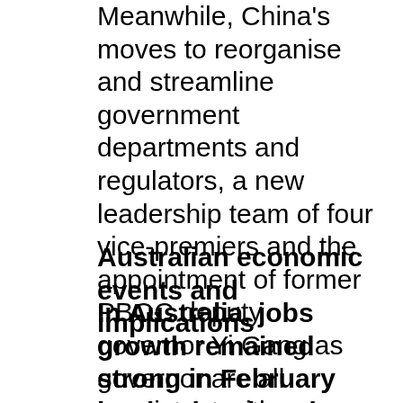Meanwhile, China's moves to reorganise and streamline government departments and regulators, a new leadership team of four vice-premiers and the appointment of former PBOC deputy governor Yi Gang as governor are all consistent with pursuing President Xi Jinping's reform agenda. Yi Gang's appointment in particular signals continuing support for retiring PBOC Governor Zhou's policies to open the economy and modernise monetary policy.
Australian economic events and implications
In Australia, jobs growth remained strong in February but it's just keeping up with labour force growth. The good news is that employment is up a very strong 3.5% over the last year, full time jobs are up by 4% and leading labour market indicators like job vacancies and hiring plans point to continued strength. Against this, unemployment